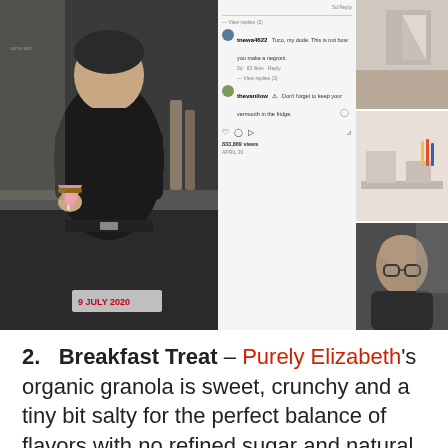[Figure (photo): Top strip of photos: left shows a man in black shirt holding a pink cocktail in a kitchen with a July 2020 caption; middle shows an Instagram comment thread with user avatars and comments including 'tnewa4622 Tuco, my dude. This is not how you make a negroni.' and 'thevanilow Don't forget to keep your vermouth in the fridge.' with 833,869 views; right column shows three stacked photos of an older bald man with glasses in various settings.]
2. Breakfast Treat – Purely Elizabeth's organic granola is sweet, crunchy and a tiny bit salty for the perfect balance of flavors with no refined sugar and natural probiotics. The Original Ancient Grain tastes like a cinnamon oatmeal cookie, and Maple Almond Butter is the perfect blend of nutty and sweet. (Not an affiliate link, just a product I love. If you order today, the company will donate 10% to